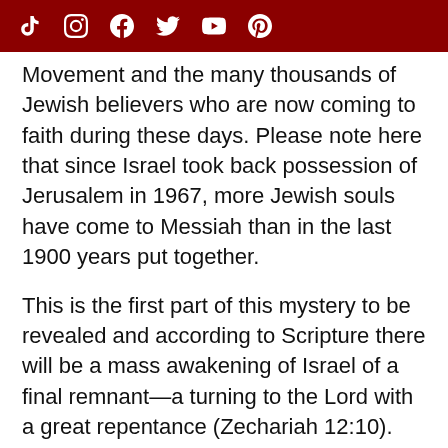Social media icons bar (TikTok, Instagram, Facebook, Twitter, YouTube, Pinterest)
Movement and the many thousands of Jewish believers who are now coming to faith during these days. Please note here that since Israel took back possession of Jerusalem in 1967, more Jewish souls have come to Messiah than in the last 1900 years put together.
This is the first part of this mystery to be revealed and according to Scripture there will be a mass awakening of Israel of a final remnant—a turning to the Lord with a great repentance (Zechariah 12:10). But will this happen between God and Israel alone, or is His church the catalyst to help bring this about? To be continued …